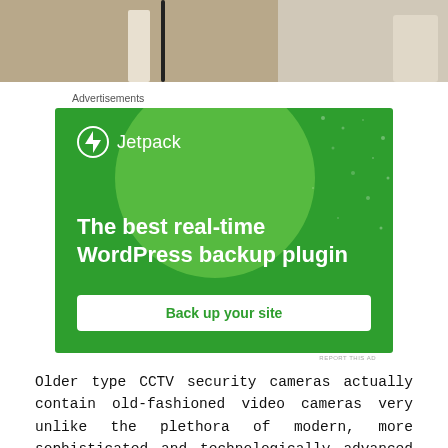[Figure (photo): Top portion of a photo showing CCTV security camera mounted with cables and pipes on a wall/ceiling]
Advertisements
[Figure (screenshot): Jetpack advertisement banner with green background. Logo shows Jetpack icon and name. Text reads: The best real-time WordPress backup plugin. Button: Back up your site]
REPORT THIS AD
Older type CCTV security cameras actually contain old-fashioned video cameras very unlike the plethora of modern, more sophisticated and technologically advanced models on the market